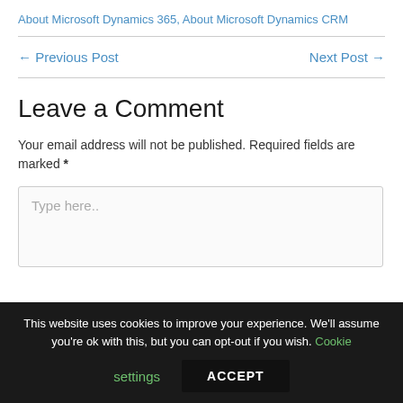About Microsoft Dynamics 365, About Microsoft Dynamics CRM
← Previous Post   Next Post →
Leave a Comment
Your email address will not be published. Required fields are marked *
Type here..
This website uses cookies to improve your experience. We'll assume you're ok with this, but you can opt-out if you wish. Cookie settings ACCEPT